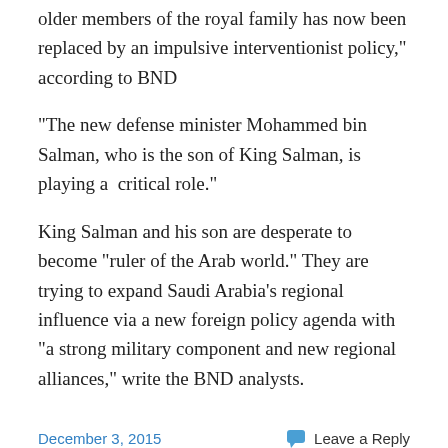older members of the royal family has now been replaced by an impulsive interventionist policy,” according to BND
“The new defense minister Mohammed bin Salman, who is the son of King Salman, is playing a  critical role.”
King Salman and his son are desperate to become “ruler of the Arab world.” They are trying to expand Saudi Arabia’s regional influence via a new foreign policy agenda with “a strong military component and new regional alliances,” write the BND analysts.
December 3, 2015
Leave a Reply
Suppressed Rains Intensify